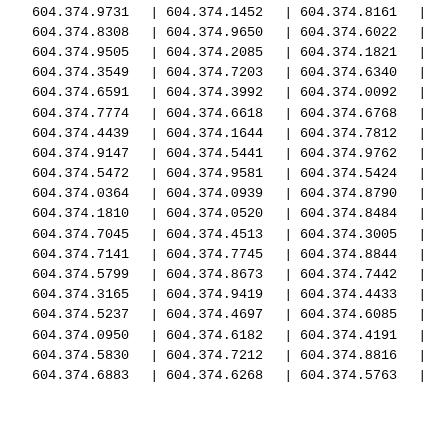| Col1 | Col2 | Col3 |
| --- | --- | --- |
| 604.374.9731 | 604.374.1452 | 604.374.8161 |
| 604.374.8308 | 604.374.9650 | 604.374.6022 |
| 604.374.9505 | 604.374.2085 | 604.374.1821 |
| 604.374.3549 | 604.374.7203 | 604.374.6340 |
| 604.374.6591 | 604.374.3992 | 604.374.0092 |
| 604.374.7774 | 604.374.6618 | 604.374.6768 |
| 604.374.4439 | 604.374.1644 | 604.374.7812 |
| 604.374.9147 | 604.374.5441 | 604.374.9762 |
| 604.374.5472 | 604.374.9581 | 604.374.5424 |
| 604.374.0364 | 604.374.0939 | 604.374.8790 |
| 604.374.1810 | 604.374.0520 | 604.374.8484 |
| 604.374.7045 | 604.374.4513 | 604.374.3005 |
| 604.374.7141 | 604.374.7745 | 604.374.8844 |
| 604.374.5799 | 604.374.8673 | 604.374.7442 |
| 604.374.3165 | 604.374.9419 | 604.374.4433 |
| 604.374.5237 | 604.374.4697 | 604.374.6085 |
| 604.374.0950 | 604.374.6182 | 604.374.4191 |
| 604.374.5830 | 604.374.7212 | 604.374.8816 |
| 604.374.6883 | 604.374.6268 | 604.374.5763 |